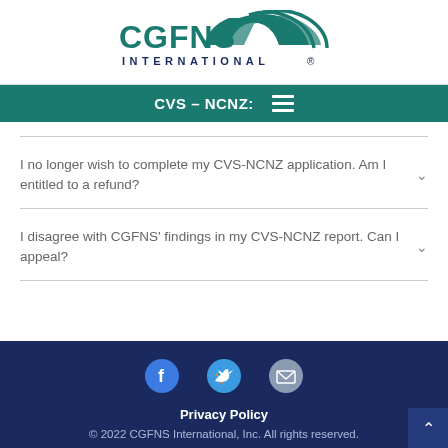[Figure (logo): CGFNS International logo with teal arch design and text]
CVS – NCNZ:
I no longer wish to complete my CVS-NCNZ application. Am I entitled to a refund?
I disagree with CGFNS' findings in my CVS-NCNZ report. Can I appeal?
[Figure (infographic): Social media icons: Facebook, Twitter, Email]
Privacy Policy
© 2022 CGFNS International, Inc. All rights reserved.